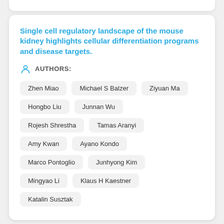Single cell regulatory landscape of the mouse kidney highlights cellular differentiation programs and disease targets.
AUTHORS:
Zhen Miao
Michael S Balzer
Ziyuan Ma
Hongbo Liu
Junnan Wu
Rojesh Shrestha
Tamas Aranyi
Amy Kwan
Ayano Kondo
Marco Pontoglio
Junhyong Kim
Mingyao Li
Klaus H Kaestner
Katalin Susztak